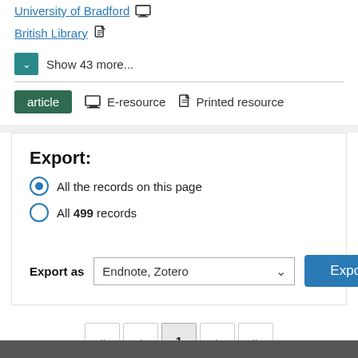University of Bradford [monitor icon]
British Library [doc icon]
Show 43 more...
article  E-resource  Printed resource
Export:
All the records on this page
All 499 records
Export as  Endnote, Zotero  [Export button]
Pagination: << < 1 > >>